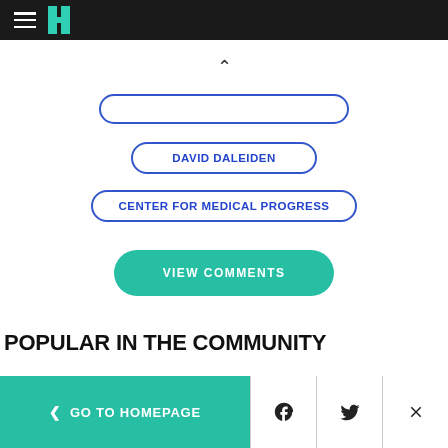HuffPost navigation bar with hamburger menu and logo
DAVID DALEIDEN
CENTER FOR MEDICAL PROGRESS
VIEW COMMENTS
POPULAR IN THE COMMUNITY
< GO TO HOMEPAGE | Facebook | Twitter | Close